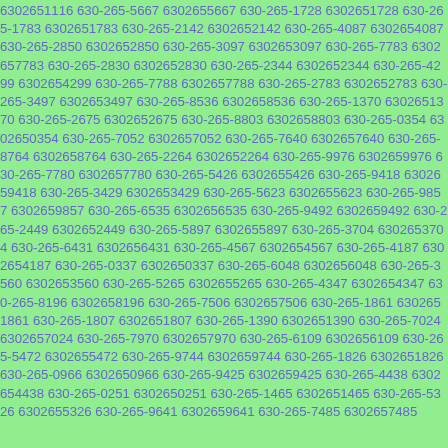6302651116 630-265-5667 6302655667 630-265-1728 6302651728 630-265-1783 6302651783 630-265-2142 6302652142 630-265-4087 6302654087 630-265-2850 6302652850 630-265-3097 6302653097 630-265-7783 6302657783 630-265-2830 6302652830 630-265-2344 6302652344 630-265-4299 6302654299 630-265-7788 6302657788 630-265-2783 6302652783 630-265-3497 6302653497 630-265-8536 6302658536 630-265-1370 6302651370 630-265-2675 6302652675 630-265-8803 6302658803 630-265-0354 6302650354 630-265-7052 6302657052 630-265-7640 6302657640 630-265-8764 6302658764 630-265-2264 6302652264 630-265-9976 6302659976 630-265-7780 6302657780 630-265-5426 6302655426 630-265-9418 6302659418 630-265-3429 6302653429 630-265-5623 6302655623 630-265-9857 6302659857 630-265-6535 6302656535 630-265-9492 6302659492 630-265-2449 6302652449 630-265-5897 6302655897 630-265-3704 6302653704 630-265-6431 6302656431 630-265-4567 6302654567 630-265-4187 6302654187 630-265-0337 6302650337 630-265-6048 6302656048 630-265-3560 6302653560 630-265-5265 6302655265 630-265-4347 6302654347 630-265-8196 6302658196 630-265-7506 6302657506 630-265-1861 6302651861 630-265-1807 6302651807 630-265-1390 6302651390 630-265-7024 6302657024 630-265-7970 6302657970 630-265-6109 6302656109 630-265-5472 6302655472 630-265-9744 6302659744 630-265-1826 6302651826 630-265-0966 6302650966 630-265-9425 6302659425 630-265-4438 6302654438 630-265-0251 6302650251 630-265-1465 6302651465 630-265-5326 6302655326 630-265-9641 6302659641 630-265-7485 6302657485